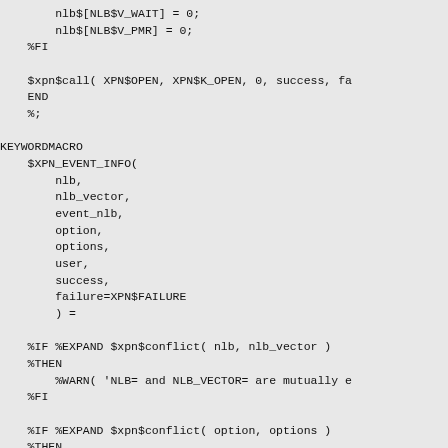nlb$[NLB$V_WAIT] = 0;
        nlb$[NLB$V_PMR] = 0;
    %FI

    $xpn$call( XPN$OPEN, XPN$K_OPEN, 0, success, fa
    END
    %;

KEYWORDMACRO
    $XPN_EVENT_INFO(
        nlb,
        nlb_vector,
        event_nlb,
        option,
        options,
        user,
        success,
        failure=XPN$FAILURE
        ) =

    %IF %EXPAND $xpn$conflict( nlb, nlb_vector )
    %THEN
        %WARN( 'NLB= and NLB_VECTOR= are mutually e
    %FI

    %IF %EXPAND $xpn$conflict( option, options )
    %THEN
        %WARN( 'OPTION= and OPTIONS= are mutually e
    %FI

    %IF %NULL(nlb)